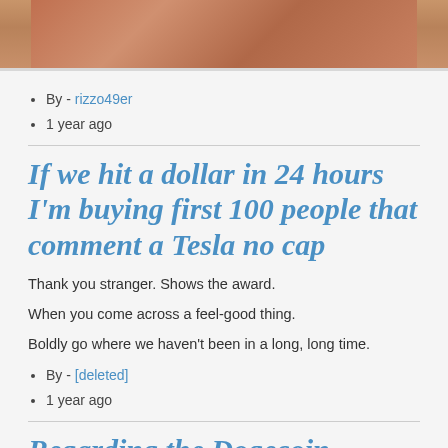[Figure (photo): Partial photo strip showing two side-by-side images of a person, cropped at the top of the page]
By - rizzo49er
1 year ago
If we hit a dollar in 24 hours I'm buying first 100 people that comment a Tesla no cap
Thank you stranger. Shows the award.
When you come across a feel-good thing.
Boldly go where we haven't been in a long, long time.
By - [deleted]
1 year ago
Regarding the Dogecoin